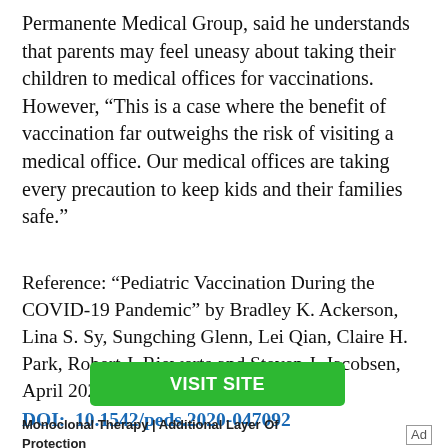Permanente Medical Group, said he understands that parents may feel uneasy about taking their children to medical offices for vaccinations. However, “This is a case where the benefit of vaccination far outweighs the risk of visiting a medical office. Our medical offices are taking every precaution to keep kids and their families safe.”
Reference: “Pediatric Vaccination During the COVID-19 Pandemic” by Bradley K. Ackerson, Lina S. Sy, Sungching Glenn, Lei Qian, Claire H. Park, Robert J. Riewerts and Steven J. Jacobsen, April 2021, Pediatrics.
DOI: 10.1542/peds.2020-047092
VISIT SITE
Monoclonal Therapy | Additional Layer Of Protection
Ad